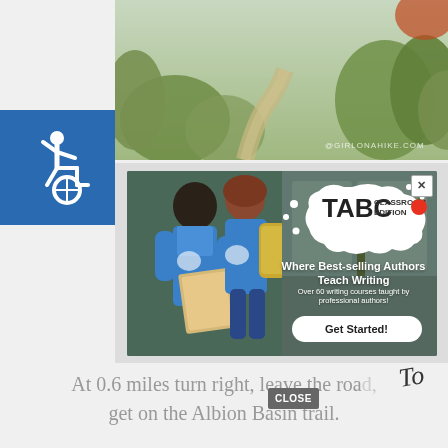[Figure (photo): Outdoor trail/nature photo with vegetation, showing @GIRLONAHIKE.COM watermark]
[Figure (illustration): Blue accessibility wheelchair icon on blue square background]
[Figure (photo): TABC Classroom Edition advertisement showing two students in blue shirts reading books, with text: Where Best-selling Authors Teach Writing. Over 60 writing courses taught by professional authors! Get Started! Close button X in top right.]
At 0.6 miles turn right, leave the road, get on the Albion Basin trail.